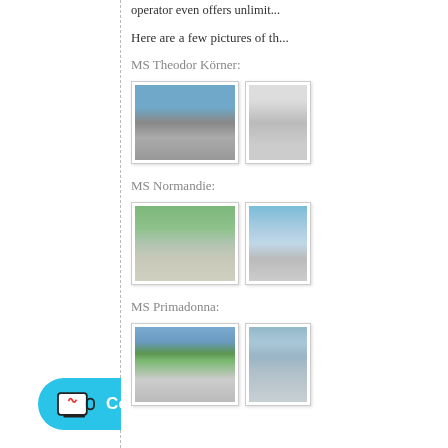operator even offers unlimited...
Here are a few pictures of th...
MS Theodor Körner:
[Figure (photo): MS Theodor Körner ship docked at a river port, with hillside in background]
[Figure (photo): Interior cabin view of MS Theodor Körner (partially visible)]
MS Normandie:
[Figure (photo): MS Normandie river cruise ship seen from above on a wide river]
[Figure (photo): MS Normandie passing green hillside (partially visible)]
MS Primadonna:
[Figure (photo): MS Primadonna against green forested hills on a river]
[Figure (photo): MS Primadonna near riverside buildings (partially visible)]
[Figure (illustration): Coffee, please! donation button in cyan/blue]